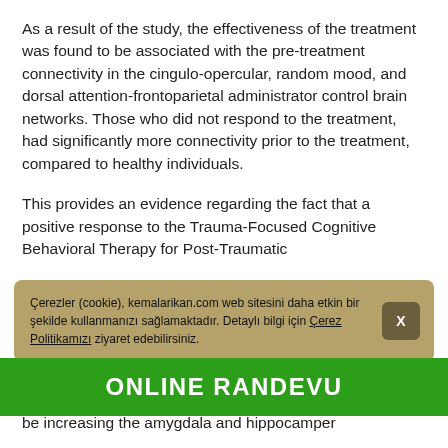As a result of the study, the effectiveness of the treatment was found to be associated with the pre-treatment connectivity in the cingulo-opercular, random mood, and dorsal attention-frontoparietal administrator control brain networks. Those who did not respond to the treatment, had significantly more connectivity prior to the treatment, compared to healthy individuals.
This provides an evidence regarding the fact that a positive response to the Trauma-Focused Cognitive Behavioral Therapy for Post-Traumatic
functional architecture of the brain. Trauma-
be increasing the amygdala and hippocamper